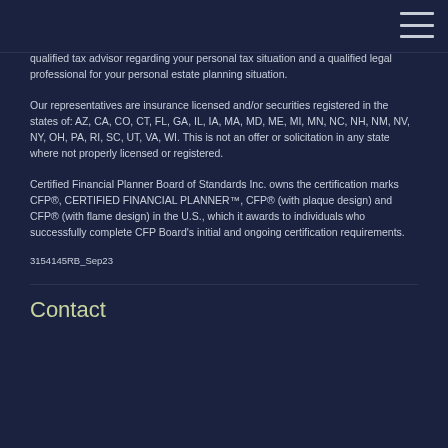qualified tax advisor regarding your personal tax situation and a qualified legal professional for your personal estate planning situation.
Our representatives are insurance licensed and/or securities registered in the states of: AZ, CA, CO, CT, FL, GA, IL, IA, MA, MD, ME, MI, MN, NC, NH, NM, NV, NY, OH, PA, RI, SC, UT, VA, WI. This is not an offer or solicitation in any state where not properly licensed or registered.
Certified Financial Planner Board of Standards Inc. owns the certification marks CFP®, CERTIFIED FINANCIAL PLANNER™, CFP® (with plaque design) and CFP® (with flame design) in the U.S., which it awards to individuals who successfully complete CFP Board's initial and ongoing certification requirements.
3154145RB_Sep23
Contact
Contact sub text